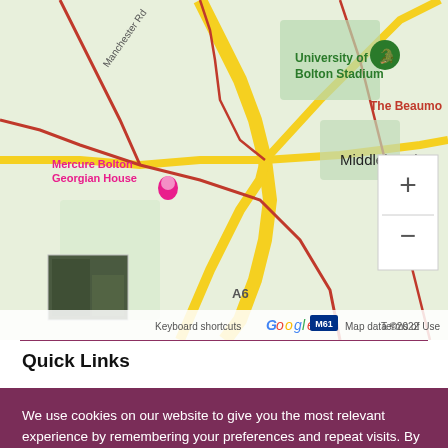[Figure (map): Google Maps screenshot showing area around University of Bolton Stadium, Middlebrook, Mercure Bolton Georgian House, The Beaumo(nt), A6 road, with zoom controls and satellite thumbnail. Map data ©2022.]
Quick Links
We use cookies on our website to give you the most relevant experience by remembering your preferences and repeat visits. By clicking “Accept”, you consent to the use of ALL the cookies. Find out more.
Cookie Settings   Accept